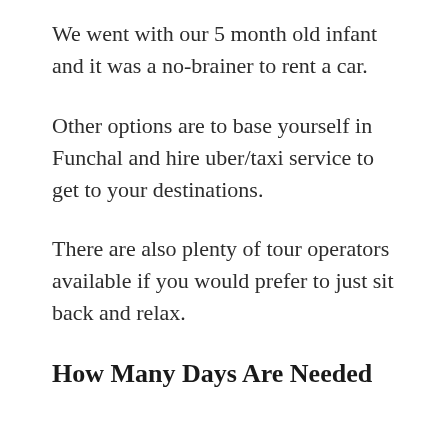We went with our 5 month old infant and it was a no-brainer to rent a car.
Other options are to base yourself in Funchal and hire uber/taxi service to get to your destinations.
There are also plenty of tour operators available if you would prefer to just sit back and relax.
How Many Days Are Needed